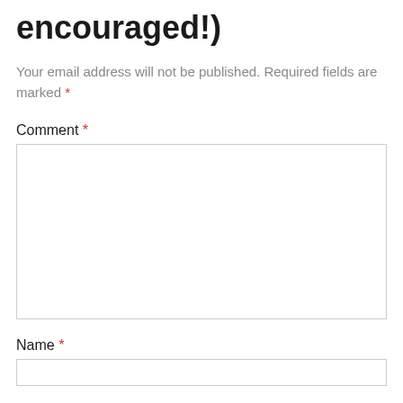encouraged!)
Your email address will not be published. Required fields are marked *
Comment *
Name *